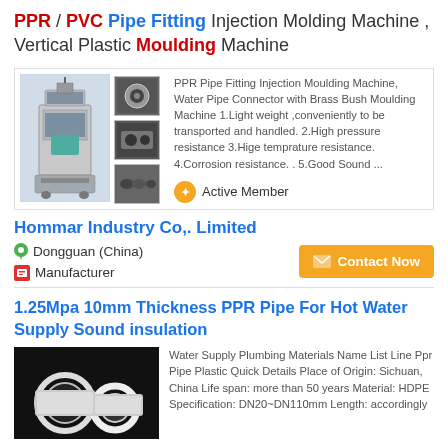PPR / PVC Pipe Fitting Injection Molding Machine , Vertical Plastic Moulding Machine
[Figure (photo): Product images of injection molding machine and pipe fitting components]
PPR Pipe Fitting Injection Moulding Machine, Water Pipe Connector with Brass Bush Moulding Machine 1.Light weight ,conveniently to be transported and handled. 2.High pressure resistance 3.Hige temprature resistance. 4.Corrosion resistance. . 5.Good Sound ...
Active Member
Hommar Industry Co,. Limited
Dongguan (China)
Manufacturer
Contact Now
1.25Mpa 10mm Thickness PPR Pipe For Hot Water Supply Sound insulation
[Figure (photo): White PPR pipes for hot water supply]
Water Supply Plumbing Materials Name List Line Ppr Pipe Plastic Quick Details Place of Origin: Sichuan, China Life span: more than 50 years Material: HDPE Specification: DN20~DN110mm Length: accordingly